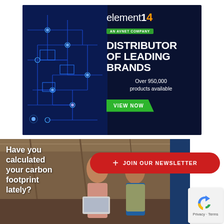[Figure (illustration): element14 brand advertisement banner. Dark navy background with blue circuit board pattern on left. Right side shows: element14 logo with orange '14', green 'AN AVNET COMPANY' badge, large white bold text 'DISTRIBUTOR OF LEADING BRANDS', white text 'Over 950,000 products available', green 'VIEW NOW' button.]
[Figure (photo): Photo of two women in a warehouse/industrial setting, one in casual clothing and one in a yellow safety vest, looking at a laptop. Dark blue panel on right edge. White bold text overlay on left: 'Have you calculated your carbon footprint lately?'. Red pill-shaped button overlay: '+ JOIN OUR NEWSLETTER'.]